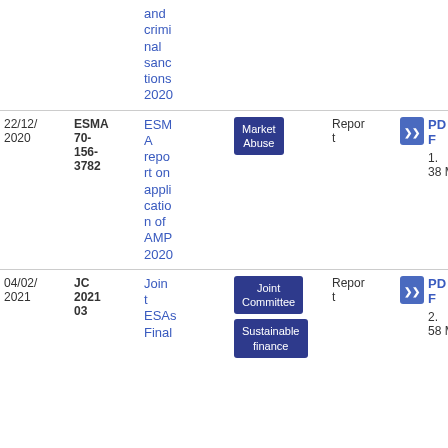| Date | Reference | Title | Topic | Type | File |
| --- | --- | --- | --- | --- | --- |
|  |  | and criminal sanctions 2020 |  |  |  |
| 22/12/2020 | ESMA 70-156-3782 | ESMA report on application of AMP 2020 | Market Abuse | Report | PDF
1.38 MB |
| 04/02/2021 | JC 2021 03 | Joint ESAs Final | Joint Committee
Sustainable finance | Report | PDF
2.58 MB |